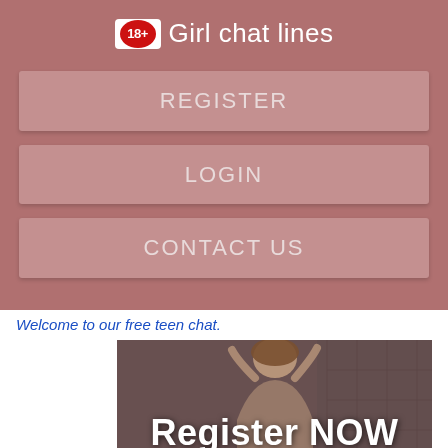18+ Girl chat lines
REGISTER
LOGIN
CONTACT US
Welcome to our free teen chat.
[Figure (photo): A young woman with brown hair against a tiled background with 'Register NOW' text overlay]
Register NOW